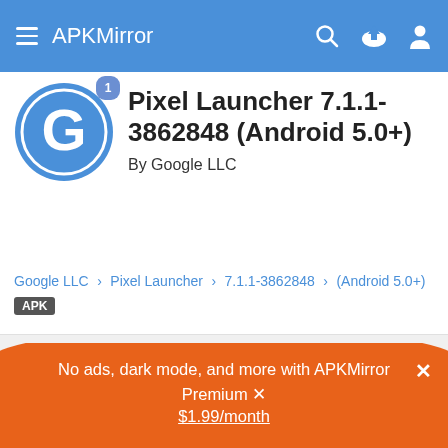APKMirror
Pixel Launcher 7.1.1-3862848 (Android 5.0+)
By Google LLC
Google LLC > Pixel Launcher > 7.1.1-3862848 > (Android 5.0+) APK
Advertisement
No ads, dark mode, and more with APKMirror Premium × $1.99/month